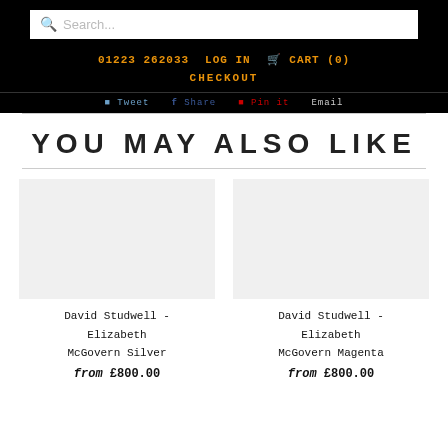Search... | 01223 262033 | LOG IN | CART (0) | CHECKOUT
Tweet | Share | Pin it | Email
YOU MAY ALSO LIKE
David Studwell - Elizabeth McGovern Silver
from £800.00
David Studwell - Elizabeth McGovern Magenta
from £800.00